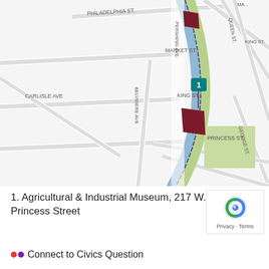[Figure (map): Street map of York, PA area showing Pershing Ave, Philadelphia St, Market St, King St, Princess St, Carlisle Ave, Belvidere Ave, Duke St, Queen St, George St, and Interstate 83. A green trail/path runs diagonally. A teal flag marker labeled '1' and dark red building footprints are shown near Pershing Ave and Princess St intersection. A green park area is visible to the right.]
1. Agricultural & Industrial Museum, 217 W. Princess Street
Connect to Civics Question